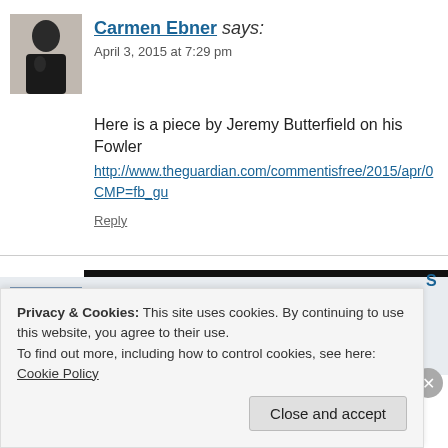[Figure (photo): Avatar photo of Carmen Ebner, a woman in dark clothing]
Carmen Ebner says: April 3, 2015 at 7:29 pm
Here is a piece by Jeremy Butterfield on his Fowler http://www.theguardian.com/commentisfree/2015/apr/0... CMP=fb_gu
Reply
[Figure (photo): Avatar photo of Robin Straaijer, a man with beard wearing blue shirt]
Robin Straaijer says: May 19, 2015 at 3:48 pm
Privacy & Cookies: This site uses cookies. By continuing to use this website, you agree to their use.
To find out more, including how to control cookies, see here: Cookie Policy
Close and accept